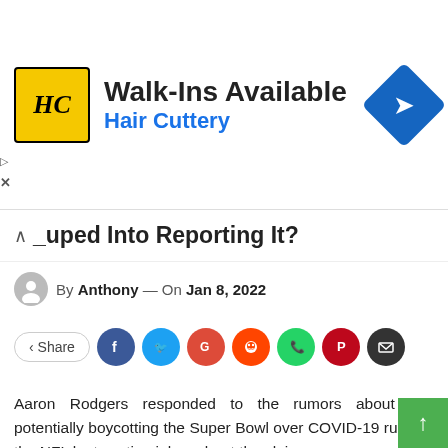[Figure (illustration): Hair Cuttery advertisement banner with HC logo, 'Walk-Ins Available' headline, 'Hair Cuttery' subtext in blue, and a blue diamond navigation icon on the right]
...uped Into Reporting It?
By Anthony — On Jan 8, 2022
[Figure (infographic): Social share buttons row: Share button, Facebook, Twitter, Google, Reddit, WhatsApp, Pinterest, Email circles]
Aaron Rodgers responded to the rumors about him potentially boycotting the Super Bowl over COVID-19 rules in the NFL by tweeting jokes about the claim.
On Friday during his CBS Sports NFL Today podcast, Boomer Esiason shared a text message he received from an unknown source regarding the Packers QB.